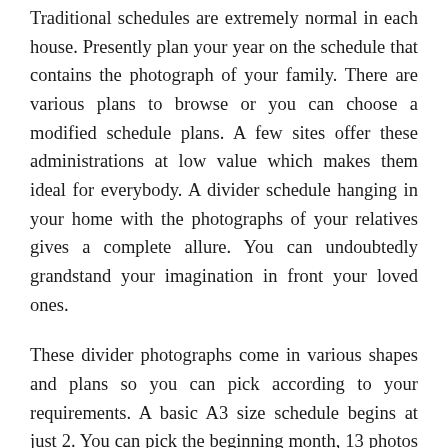Traditional schedules are extremely normal in each house. Presently plan your year on the schedule that contains the photograph of your family. There are various plans to browse or you can choose a modified schedule plans. A few sites offer these administrations at low value which makes them ideal for everybody. A divider schedule hanging in your home with the photographs of your relatives gives a complete allure. You can undoubtedly grandstand your imagination in front your loved ones.
These divider photographs come in various shapes and plans so you can pick according to your requirements. A basic A3 size schedule begins at just 2. You can pick the beginning month, 13 photos that you need to print and the plan of the schedule. Customized schedules mirror the innovativeness and protect the ideal snapshots of your life. You can